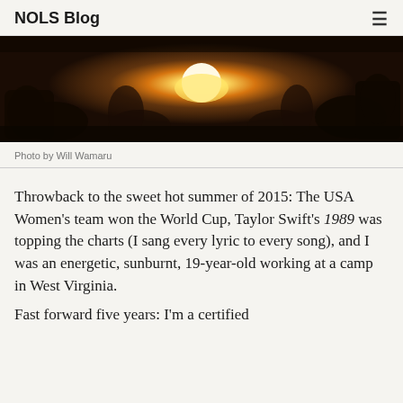NOLS Blog
[Figure (photo): Group of people gathered around a bright fire at night in an outdoor wilderness setting]
Photo by Will Wamaru
Throwback to the sweet hot summer of 2015: The USA Women’s team won the World Cup, Taylor Swift’s 1989 was topping the charts (I sang every lyric to every song), and I was an energetic, sunburnt, 19-year-old working at a camp in West Virginia.
Fast forward five years: I’m a certified